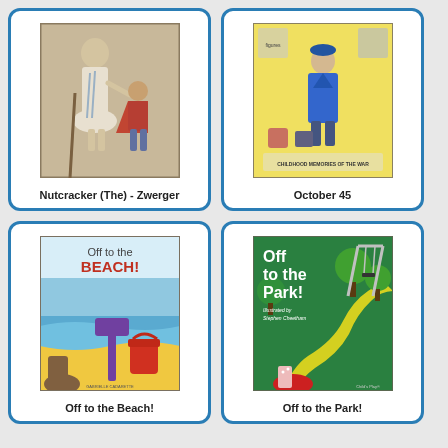[Figure (illustration): Book cover of Nutcracker (The) by Zwerger - illustrated figures of a woman in white dress and a boy in a cape dancing]
Nutcracker (The) - Zwerger
[Figure (illustration): Book cover of October 45 - Childhood Memories of the War, featuring a boy in blue coat surrounded by war imagery on yellow background]
October 45
[Figure (illustration): Book cover of Off to the Beach! - colorful illustration with shovel, bucket, and feet on sandy beach]
Off to the Beach!
[Figure (illustration): Book cover of Off to the Park! - green park scene with swing set, trees, yellow path, and child's red shoes]
Off to the Park!